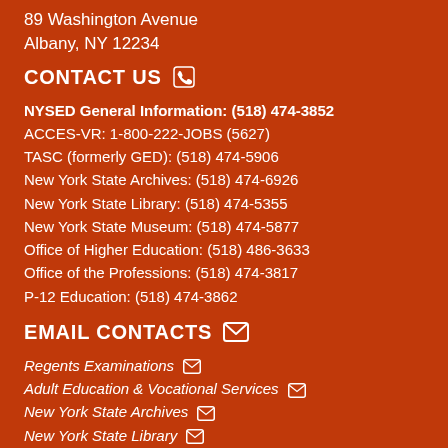89 Washington Avenue
Albany, NY 12234
CONTACT US
NYSED General Information: (518) 474-3852
ACCES-VR: 1-800-222-JOBS (5627)
TASC (formerly GED): (518) 474-5906
New York State Archives: (518) 474-6926
New York State Library: (518) 474-5355
New York State Museum: (518) 474-5877
Office of Higher Education: (518) 486-3633
Office of the Professions: (518) 474-3817
P-12 Education: (518) 474-3862
EMAIL CONTACTS
Regents Examinations
Adult Education & Vocational Services
New York State Archives
New York State Library
New York State Museum
Office of Higher Education
Office of the Professions